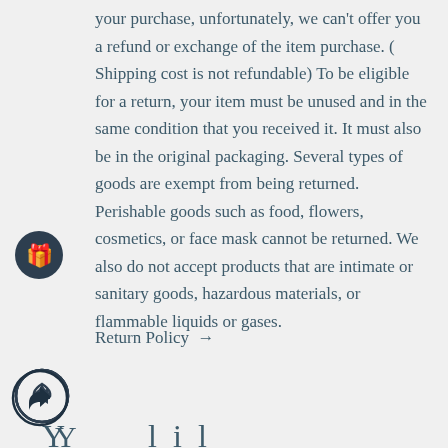your purchase, unfortunately, we can't offer you a refund or exchange of the item purchase. ( Shipping cost is not refundable) To be eligible for a return, your item must be unused and in the same condition that you received it. It must also be in the original packaging. Several types of goods are exempt from being returned. Perishable goods such as food, flowers, cosmetics, or face mask cannot be returned. We also do not accept products that are intimate or sanitary goods, hazardous materials, or flammable liquids or gases.
Return Policy →
Y...